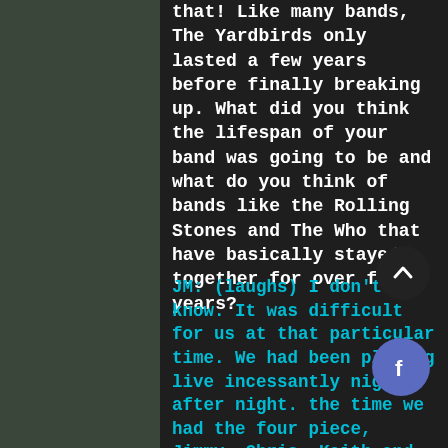that!  Like many bands, The Yardbirds only lasted a few years before finally breaking up.  What did you think the lifespan of your band was going to be and what do you think of bands like the Rolling Stones and The Who that have basically stayed together for over fifty years?
JM:  (laughs)  I don't know.  It was difficult for us at that particular time.  We had been playing live incessantly night after night.  the time we had the four piece, Jimmy, Chris, Keith and I,  we weren't writing songs like we to.  We worked together live, but